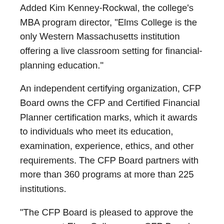Added Kim Kenney-Rockwal, the college's MBA program director, “Elms College is the only Western Massachusetts institution offering a live classroom setting for financial-planning education.”
An independent certifying organization, CFP Board owns the CFP and Certified Financial Planner certification marks, which it awards to individuals who meet its education, examination, experience, ethics, and other requirements. The CFP Board partners with more than 360 programs at more than 225 institutions.
“The CFP Board is pleased to approve the program at Elms College as a CFP Board- registered program,” said Mike Greene, chair of CFP Board’s board of directors. “As student interest in financial planning as a